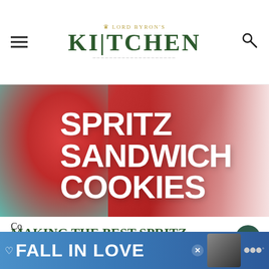LORD BYRON'S KITCHEN
[Figure (photo): Hero image showing red decorative cookies/flowers with overlaid bold white text reading SPRITZ SANDWICH COOKIES on a teal and red blurred background]
MAKING THE BEST SPRITZ COOKIES
There are a couple of tips that I want to share with you... Spritz Sandwich Cookies ...se be
[Figure (illustration): Blue advertisement banner reading FALL IN LOVE with a dog image and close button]